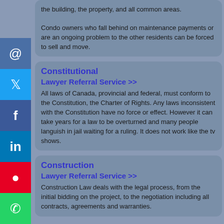the building, the property, and all common areas. Condo owners who fall behind on maintenance payments or are an ongoing problem to the other residents can be forced to sell and move.
Constitutional
Lawyer Referral Service >>
All laws of Canada, provincial and federal, must conform to the Constitution, the Charter of Rights. Any laws inconsistent with the Constitution have no force or effect. However it can take years for a law to be overturned and many people languish in jail waiting for a ruling. It does not work like the tv shows.
Construction
Lawyer Referral Service >>
Construction Law deals with the legal process, from the initial bidding on the project, to the negotiation including all contracts, agreements and warranties.